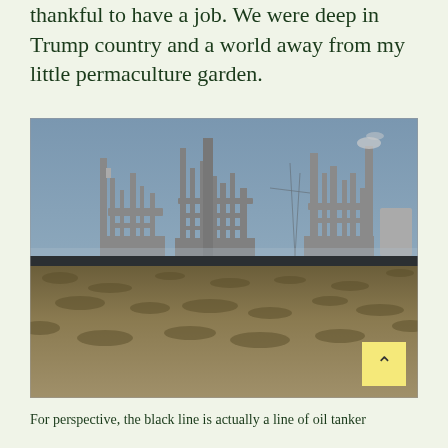thankful to have a job. We were deep in Trump country and a world away from my little permaculture garden.
[Figure (photo): Wide panoramic photograph of an industrial oil refinery complex with many towers, pipes, and smokestacks visible on the horizon, set against a grey-blue sky. In the foreground is a flat, arid scrubland or prairie landscape with sparse dry grasses. A dark horizontal band (described as a line of oil tankers) runs between the refinery structures and the flat ground.]
For perspective, the black line is actually a line of oil tanker